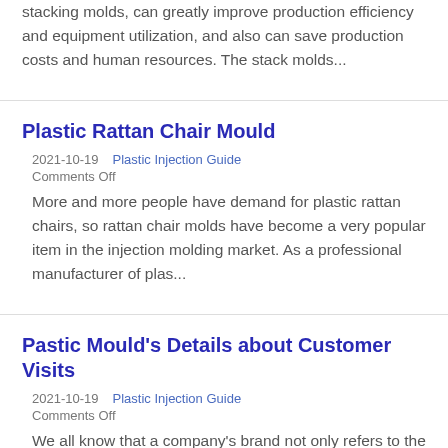stacking molds, can greatly improve production efficiency and equipment utilization, and also can save production costs and human resources. The stack molds...
Plastic Rattan Chair Mould
2021-10-19    Plastic Injection Guide
Comments Off
More and more people have demand for plastic rattan chairs, so rattan chair molds have become a very popular item in the injection molding market. As a professional manufacturer of plas...
Pastic Mould's Details about Customer Visits
2021-10-19    Plastic Injection Guide
Comments Off
We all know that a company's brand not only refers to the value of the product itself, but more importantly, its pre-sale, in-sale and after-sale service. Customers will...